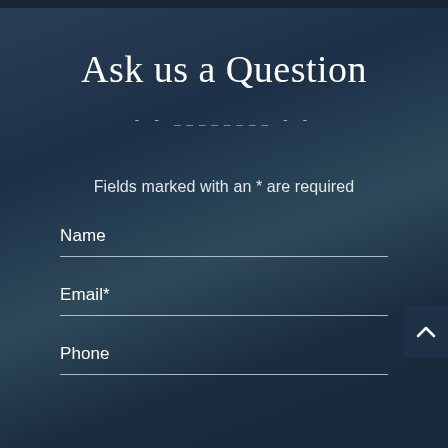Ask us a Question
- - ________ - -
Fields marked with an * are required
Name
Email*
Phone